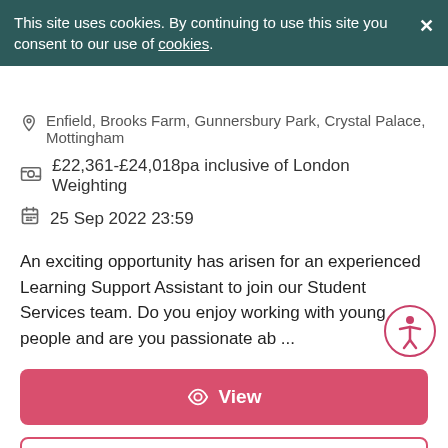This site uses cookies. By continuing to use this site you consent to our use of cookies.
Enfield, Brooks Farm, Gunnersbury Park, Crystal Palace, Mottingham
£22,361-£24,018pa inclusive of London Weighting
25 Sep 2022 23:59
An exciting opportunity has arisen for an experienced Learning Support Assistant to join our Student Services team. Do you enjoy working with young people and are you passionate ab ...
View
Save
Share